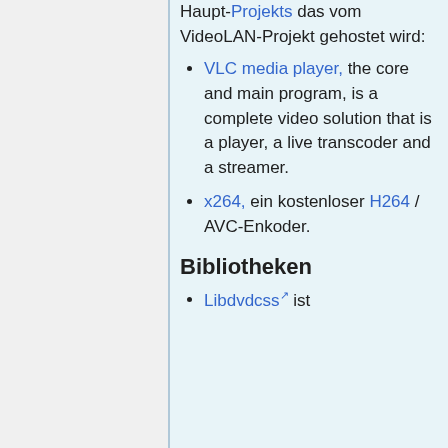Haupt-Projekts das vom VideoLAN-Projekt gehostet wird:
VLC media player, the core and main program, is a complete video solution that is a player, a live transcoder and a streamer.
x264, ein kostenloser H264 / AVC-Enkoder.
Bibliotheken
Libdvdcss ist